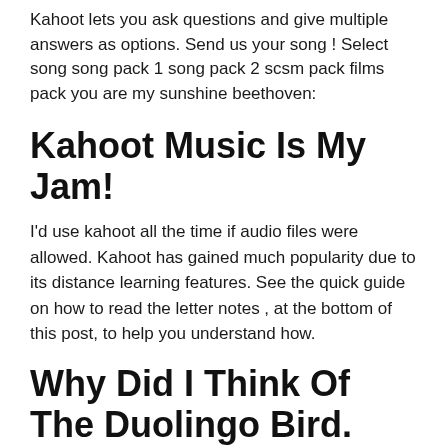Kahoot lets you ask questions and give multiple answers as options. Send us your song ! Select song song pack 1 song pack 2 scsm pack films pack you are my sunshine beethoven:
Kahoot Music Is My Jam!
I'd use kahoot all the time if audio files were allowed. Kahoot has gained much popularity due to its distance learning features. See the quick guide on how to read the letter notes , at the bottom of this post, to help you understand how.
Why Did I Think Of The Duolingo Bird.